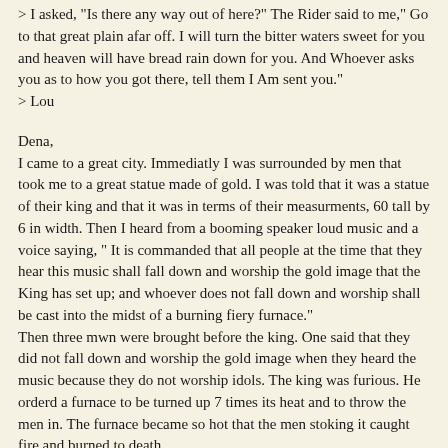> I asked, "Is there any way out of here?" The Rider said to me," Go to that great plain afar off. I will turn the bitter waters sweet for you and heaven will have bread rain down for you. And Whoever asks you as to how you got there, tell them I Am sent you."
> Lou
Dena,
I came to a great city. Immediatly I was surrounded by men that took me to a great statue made of gold. I was told that it was a statue of their king and that it was in terms of their measurments, 60 tall by 6 in width. Then I heard from a booming speaker loud music and a voice saying, " It is commanded that all people at the time that they hear this music shall fall down and worship the gold image that the King has set up; and whoever does not fall down and worship shall be cast into the midst of a burning fiery furnace."
Then three mwn were brought before the king. One said that they did not fall down and worship the gold image when they heard the music because they do not worship idols. The king was furious. He orderd a furnace to be turned up 7 times its heat and to throw the men in. The furnace became so hot that the men stoking it caught fire and burned to death.